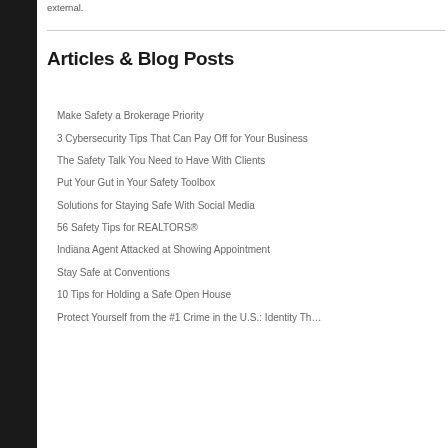external.
Articles & Blog Posts
Make Safety a Brokerage Priority
3 Cybersecurity Tips That Can Pay Off for Your Business
The Safety Talk You Need to Have With Clients
Put Your Gut in Your Safety Toolbox
Solutions for Staying Safe With Social Media
56 Safety Tips for REALTORS®
Indiana Agent Attacked at Showing Appointment
Stay Safe at Conventions
10 Tips for Holding a Safe Open House
Protect Yourself from the #1 Crime in the U.S.: Identity Th…